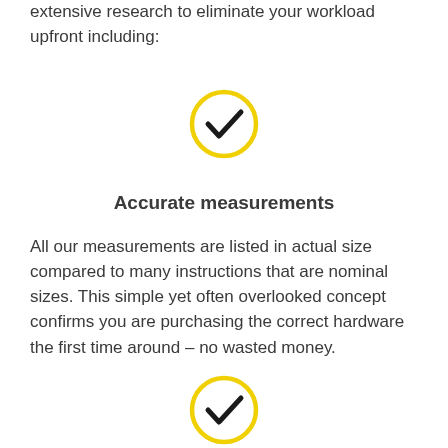extensive research to eliminate your workload upfront including:
[Figure (illustration): Yellow circle with black checkmark icon]
Accurate measurements
All our measurements are listed in actual size compared to many instructions that are nominal sizes. This simple yet often overlooked concept confirms you are purchasing the correct hardware the first time around – no wasted money.
[Figure (illustration): Yellow circle with black checkmark icon]